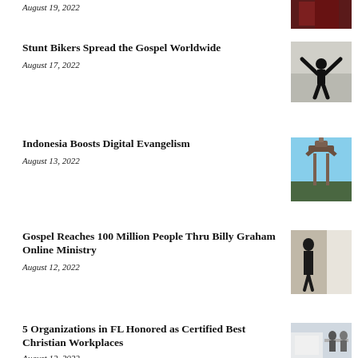Stunt Bikers Spread the Gospel Worldwide
August 17, 2022
[Figure (photo): Silhouette of a person with arms raised against a light background]
Indonesia Boosts Digital Evangelism
August 13, 2022
[Figure (photo): Decorative temple gate archway with blue sky backdrop]
Gospel Reaches 100 Million People Thru Billy Graham Online Ministry
August 12, 2022
[Figure (photo): Silhouette of a person near a window]
5 Organizations in FL Honored as Certified Best Christian Workplaces
August 12, 2022
[Figure (photo): Office workspace with people sitting at a desk]